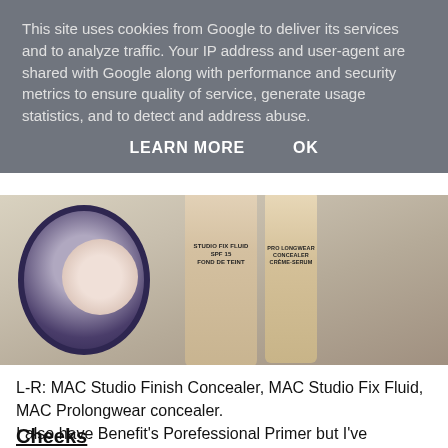This site uses cookies from Google to deliver its services and to analyze traffic. Your IP address and user-agent are shared with Google along with performance and security metrics to ensure quality of service, generate usage statistics, and to detect and address abuse.
LEARN MORE    OK
[Figure (photo): MAC Studio Finish Concealer (open compact, round, dark blue), MAC Studio Fix Fluid (tall bottle with label: STUDIO FIX FLUID SPF 15 FOND DE TEINT), and MAC Prolongwear Concealer (smaller bottle) arranged on a white textured surface.]
L-R: MAC Studio Finish Concealer, MAC Studio Fix Fluid, MAC Prolongwear concealer.
I also have Benefit's Porefessional Primer but I've somehow managed to forget to include it... Ooops!
Cheeks